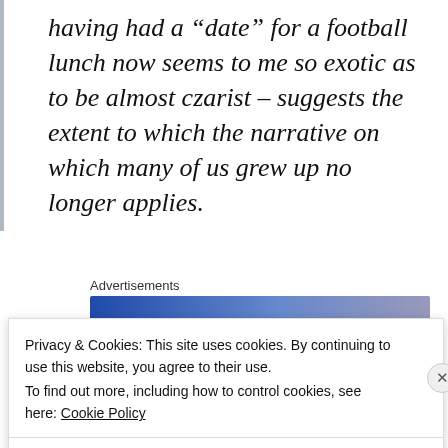having had a “date” for a football lunch now seems to me so exotic as to be almost czarist – suggests the extent to which the narrative on which many of us grew up no longer applies.
Advertisements
[Figure (other): Blue-to-purple gradient advertisement banner bar]
Privacy & Cookies: This site uses cookies. By continuing to use this website, you agree to their use.
To find out more, including how to control cookies, see here: Cookie Policy
Close and accept